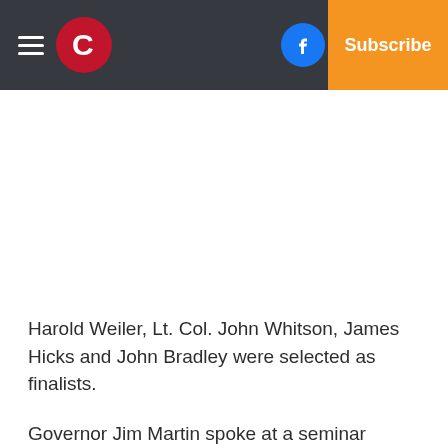Carousel/C logo | Facebook | Twitter | Log In | Subscribe
Harold Weiler, Lt. Col. John Whitson, James Hicks and John Bradley were selected as finalists.
Governor Jim Martin spoke at a seminar series at Tanglewood Park. Martin addressed a group of